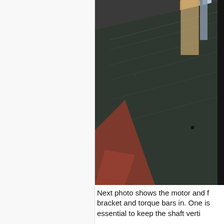[Figure (photo): Close-up photo of a dark-colored mechanical component (likely a motor or shaft housing) with wooden or metal parts visible in the background. Shows rust and metallic surfaces, with a small circular fastener visible on the dark surface.]
Next photo shows the motor and f bracket and torque bars in. One is essential to keep the shaft verti...